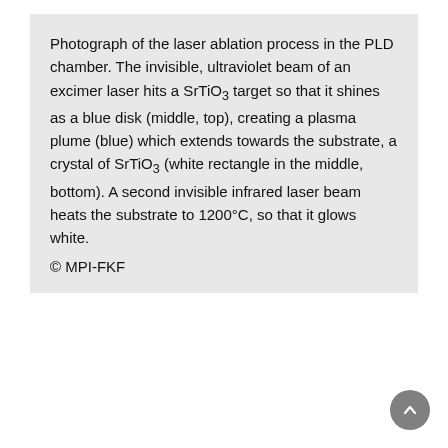Photograph of the laser ablation process in the PLD chamber. The invisible, ultraviolet beam of an excimer laser hits a SrTiO3 target so that it shines as a blue disk (middle, top), creating a plasma plume (blue) which extends towards the substrate, a crystal of SrTiO3 (white rectangle in the middle, bottom). A second invisible infrared laser beam heats the substrate to 1200°C, so that it glows white. © MPI-FKF